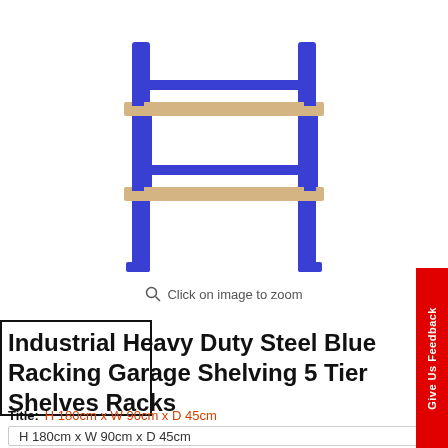[Figure (photo): Blue steel industrial heavy duty shelving rack with wooden shelves, showing two visible tiers in the cropped image]
Click on image to zoom
[Figure (photo): Small white thumbnail image of the shelving rack]
Industrial Heavy Duty Steel Blue Racking Garage Shelving 5 Tier Shelves Racks
Title: H 180cm x W 90cm x D 45cm
H 180cm x W 90cm x D 45cm